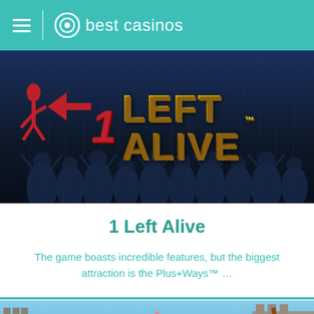best casinos
[Figure (screenshot): 1 Left Alive slot game banner with dark background showing zombie silhouettes and the game title in gold letters]
1 Left Alive
The game boasts incredible features, but the biggest attraction is the Plus+Ways™ ...
[Figure (screenshot): Second game card banner showing a queen character and a horse with castle background, with thumbs up and mobile icons]